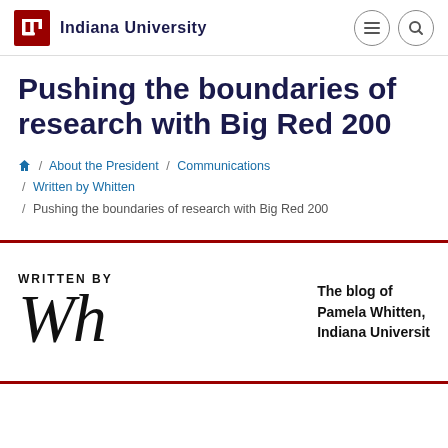Indiana University
Pushing the boundaries of research with Big Red 200
/ About the President / Communications / Written by Whitten / Pushing the boundaries of research with Big Red 200
[Figure (logo): Written by Whitten blog header with cursive signature and text: The blog of Pamela Whitten, Indiana University]